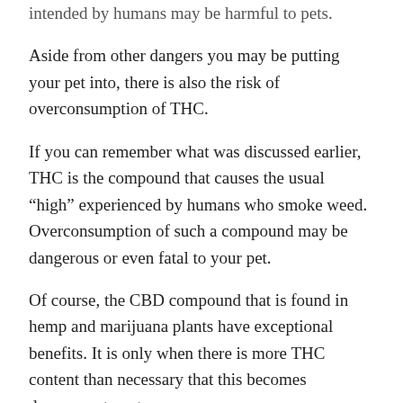intended by humans may be harmful to pets.
Aside from other dangers you may be putting your pet into, there is also the risk of overconsumption of THC.
If you can remember what was discussed earlier, THC is the compound that causes the usual “high” experienced by humans who smoke weed. Overconsumption of such a compound may be dangerous or even fatal to your pet.
Of course, the CBD compound that is found in hemp and marijuana plants have exceptional benefits. It is only when there is more THC content than necessary that this becomes dangerous to pets.
Anyway, you may be wondering. How do you determine the right amount to give your pets?
Experts suggest that medicine should be ingested slowly. Start with a small amount of CBD. If there are no side effects, gradually increase the dosage of your daily CBD. But should there be adverse effects, stop giving your pet CBD...